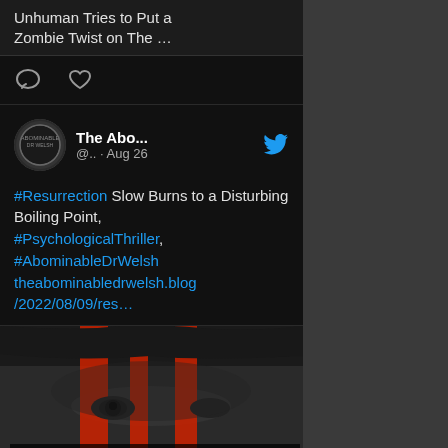Unhuman Tries to Put a Zombie Twist on The ...
[Figure (screenshot): Reaction bar with comment bubble icon and heart icon on dark background]
The Abo... @.. · Aug 26
#Resurrection Slow Burns to a Disturbing Boiling Point, #PsychologicalThriller, #AbominableDrWelsh theabominabledrwelsh.blog/2022/08/09/res…
[Figure (photo): Movie poster for RESURRECTION - black and white close-up of a woman's face with red vertical bars overlaid, text RESURRECTION at bottom]